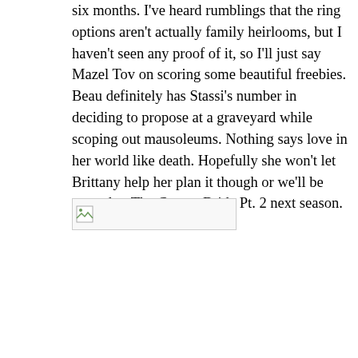six months. I've heard rumblings that the ring options aren't actually family heirlooms, but I haven't seen any proof of it, so I'll just say Mazel Tov on scoring some beautiful freebies. Beau definitely has Stassi's number in deciding to propose at a graveyard while scoping out mausoleums. Nothing says love in her world like death. Hopefully she won't let Brittany help her plan it though or we'll be treated to The Corpse Bride Pt. 2 next season.
[Figure (photo): Broken/unloaded image placeholder icon]